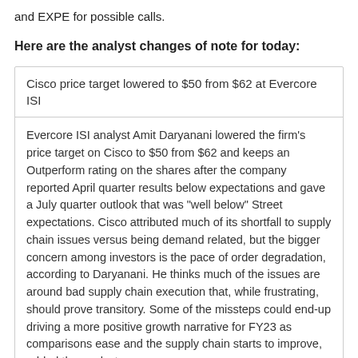and EXPE for possible calls.
Here are the analyst changes of note for today:
Cisco price target lowered to $50 from $62 at Evercore ISI
Evercore ISI analyst Amit Daryanani lowered the firm's price target on Cisco to $50 from $62 and keeps an Outperform rating on the shares after the company reported April quarter results below expectations and gave a July quarter outlook that was "well below" Street expectations. Cisco attributed much of its shortfall to supply chain issues versus being demand related, but the bigger concern among investors is the pace of order degradation, according to Daryanani. He thinks much of the issues are around bad supply chain execution that, while frustrating, should prove transitory. Some of the missteps could end-up driving a more positive growth narrative for FY23 as comparisons ease and the supply chain starts to improve, added the analyst